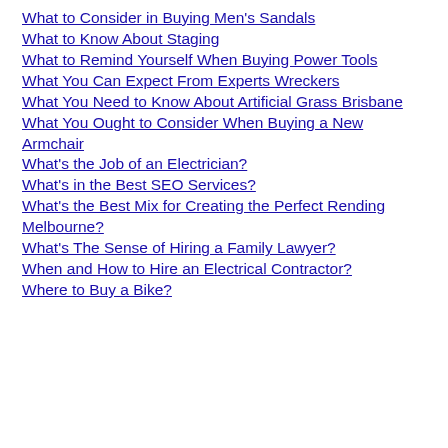What to Consider in Buying Men's Sandals
What to Know About Staging
What to Remind Yourself When Buying Power Tools
What You Can Expect From Experts Wreckers
What You Need to Know About Artificial Grass Brisbane
What You Ought to Consider When Buying a New Armchair
What's the Job of an Electrician?
What's in the Best SEO Services?
What's the Best Mix for Creating the Perfect Rending Melbourne?
What's The Sense of Hiring a Family Lawyer?
When and How to Hire an Electrical Contractor?
Where to Buy a Bike?